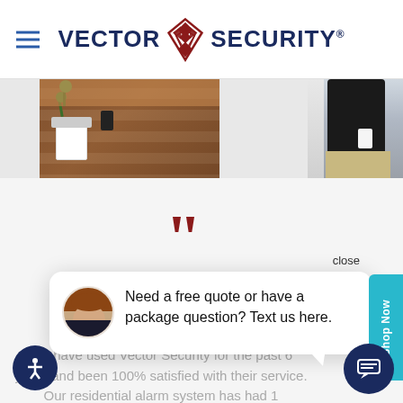[Figure (logo): Vector Security logo with red diamond geometric icon between VECTOR and SECURITY text in navy blue]
[Figure (photo): Two photos: left shows indoor plant and home decor on wooden surface, right shows person in black shirt from behind with ID badge]
[Figure (illustration): Large dark red opening quotation marks]
[Figure (screenshot): Chat popup with close button, avatar of woman with brown hair, text reading: Need a free quote or have a package question? Text us here.]
We have used Vector Security for the past 6 years and been 100% satisfied with their service. Our residential alarm system has had 1